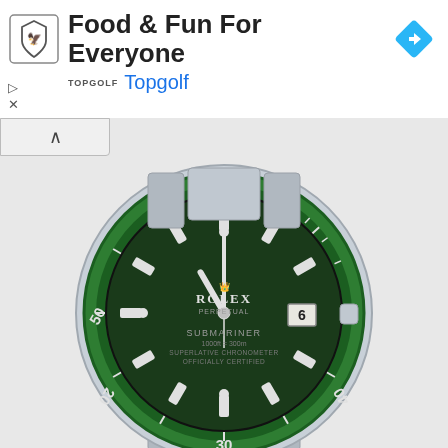[Figure (screenshot): Topgolf advertisement banner with logo, title 'Food & Fun For Everyone', brand name 'Topgolf', navigation arrow icon, and ad controls]
[Figure (photo): Rolex Submariner watch with green bezel and green dial on metal bracelet, displayed on white/light gray background]
Find Your Dream Watch
Ad  Chrono24
[Figure (photo): Person in black outfit, close-up of hands/wrist area, blurred colorful background]
100% Authentic Watches - Official World Of Luxury US
Ad  worldofluxuryus.com